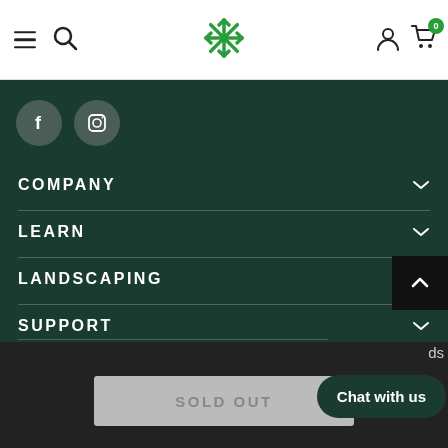[Figure (screenshot): Website header navigation bar with hamburger menu, search icon, snowflake logo, user account icon, and shopping cart with badge showing 0]
[Figure (screenshot): Dark green footer region with social media icons (Facebook, Instagram), and collapsible navigation sections: COMPANY, LEARN, LANDSCAPING, SUPPORT]
COMPANY
LEARN
LANDSCAPING
SUPPORT
Chat with us
SOLD OUT